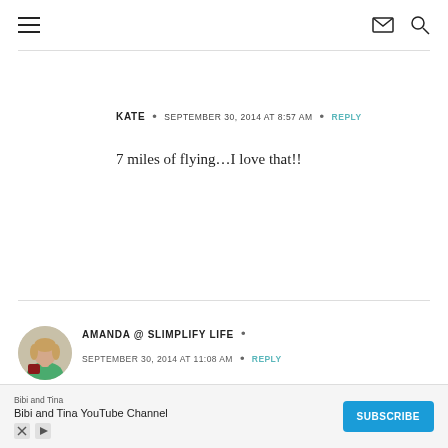≡  ✉ 🔍
KATE • SEPTEMBER 30, 2014 AT 8:57 AM • REPLY
7 miles of flying…I love that!!
AMANDA @ SLIMPLIFY LIFE • SEPTEMBER 30, 2014 AT 11:08 AM • REPLY
[Figure (photo): Avatar photo of Amanda, a woman in a green top]
Bibi and Tina  Bibi and Tina YouTube Channel  SUBSCRIBE